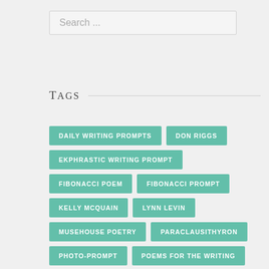Search ...
TAGS
DAILY WRITING PROMPTS
DON RIGGS
EKPHRASTIC WRITING PROMPT
FIBONACCI POEM
FIBONACCI PROMPT
KELLY MCQUAIN
LYNN LEVIN
MUSEHOUSE POETRY
PARACLAUSITHYRON
PHOTO-PROMPT
POEMS FOR THE WRITING
POETRY SUBMISSIONS
RINA TERRY
ROSE HUNTER
SHINELLE ESPAILLAT
SONG TITLE POEM
SUBMIT POETRY